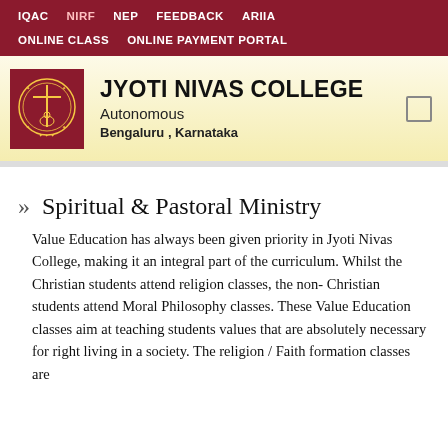IQAC  NIRF  NEP  FEEDBACK  ARIIA
ONLINE CLASS  ONLINE PAYMENT PORTAL
JYOTI NIVAS COLLEGE Autonomous Bengaluru , Karnataka
» Spiritual & Pastoral Ministry
Value Education has always been given priority in Jyoti Nivas College, making it an integral part of the curriculum. Whilst the Christian students attend religion classes, the non- Christian students attend Moral Philosophy classes. These Value Education classes aim at teaching students values that are absolutely necessary for right living in a society. The religion / Faith formation classes are